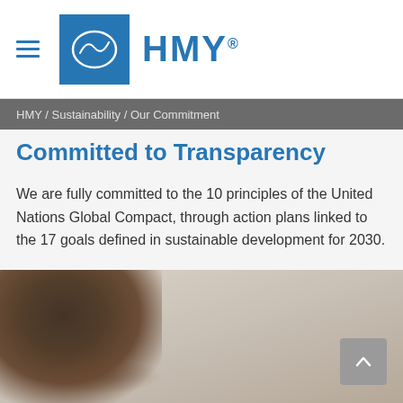HMY logo and navigation header
HMY / Sustainability / Our Commitment
Committed to Transparency
We are fully committed to the 10 principles of the United Nations Global Compact, through action plans linked to the 17 goals defined in sustainable development for 2030.
[Figure (photo): Photo of a person with curly hair, partially visible at the bottom of the page, with a light beige/gray background. A gray scroll-to-top button is in the bottom right corner.]